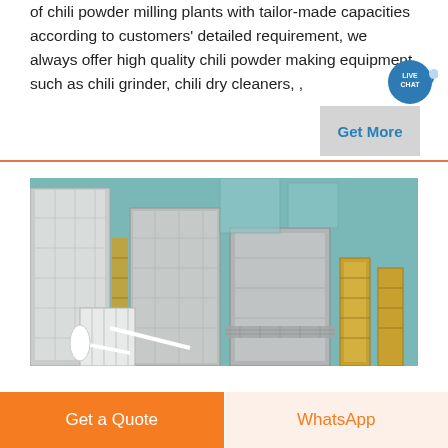of chili powder milling plants with tailor-made capacities according to customers' detailed requirement, we always offer high quality chili powder making equipment such as chili grinder, chili dry cleaners, ,
[Figure (photo): Industrial chili powder milling plant facility with large white silos, yellow scaffolding, and processing equipment in a 3D rendered or schematic view]
Get a Quote
WhatsApp